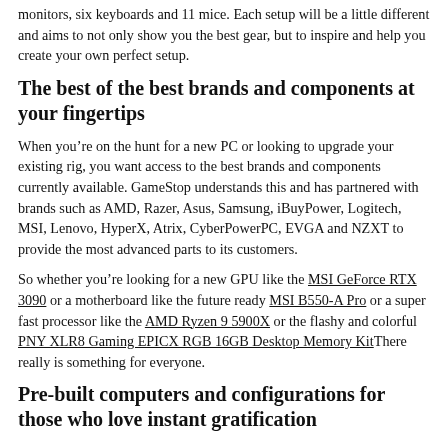monitors, six keyboards and 11 mice. Each setup will be a little different and aims to not only show you the best gear, but to inspire and help you create your own perfect setup.
The best of the best brands and components at your fingertips
When you’re on the hunt for a new PC or looking to upgrade your existing rig, you want access to the best brands and components currently available. GameStop understands this and has partnered with brands such as AMD, Razer, Asus, Samsung, iBuyPower, Logitech, MSI, Lenovo, HyperX, Atrix, CyberPowerPC, EVGA and NZXT to provide the most advanced parts to its customers.
So whether you’re looking for a new GPU like the MSI GeForce RTX 3090 or a motherboard like the future ready MSI B550-A Pro or a super fast processor like the AMD Ryzen 9 5900X or the flashy and colorful PNY XLR8 Gaming EPICX RGB 16GB Desktop Memory KitThere really is something for everyone.
Pre-built computers and configurations for those who love instant gratification